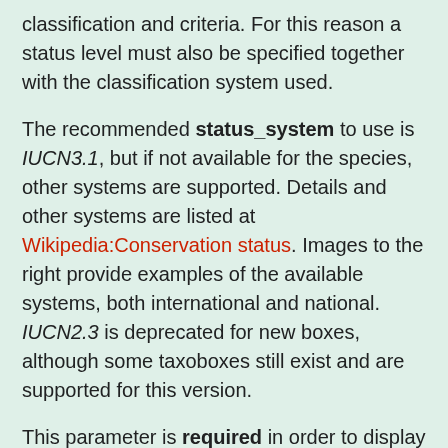classification and criteria. For this reason a status level must also be specified together with the classification system used.
The recommended status_system to use is IUCN3.1, but if not available for the species, other systems are supported. Details and other systems are listed at Wikipedia:Conservation status. Images to the right provide examples of the available systems, both international and national. IUCN2.3 is deprecated for new boxes, although some taxoboxes still exist and are supported for this version.
This parameter is required in order to display the proper conservation status graphic. Failure to use this parameter will result in no graphic appearing.
Status code